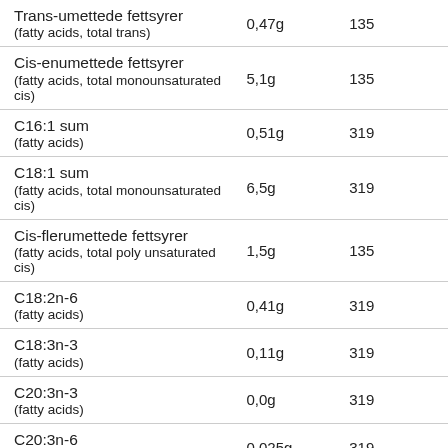| Name | Amount | Ref |
| --- | --- | --- |
| Trans-umettede fettsyrer (fatty acids, total trans) | 0,47g | 135 |
| Cis-enumettede fettsyrer (fatty acids, total monounsaturated cis) | 5,1g | 135 |
| C16:1 sum (fatty acids) | 0,51g | 319 |
| C18:1 sum (fatty acids, total monounsaturated cis) | 6,5g | 319 |
| Cis-flerumettede fettsyrer (fatty acids, total poly unsaturated cis) | 1,5g | 135 |
| C18:2n-6 (fatty acids) | 0,41g | 319 |
| C18:3n-3 (fatty acids) | 0,11g | 319 |
| C20:3n-3 (fatty acids) | 0,0g | 319 |
| C20:3n-6 (fatty acids) | 0,025g | 319 |